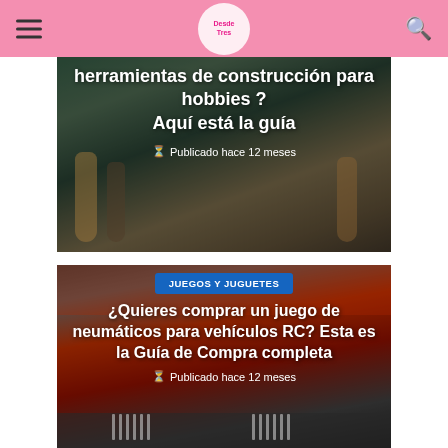DesdeT res
[Figure (photo): Article card with dark overlay showing guitars in background. Title: herramientas de construcción para hobbies? Aquí está la guía. Published 12 months ago.]
herramientas de construcción para hobbies ? Aquí está la guía
Publicado hace 12 meses
[Figure (photo): Article card with red and black RC vehicle axles in background. Category: JUEGOS Y JUGUETES. Title: ¿Quieres comprar un juego de neumáticos para vehículos RC? Esta es la Guía de Compra completa. Published 12 months ago.]
¿Quieres comprar un juego de neumáticos para vehículos RC? Esta es la Guía de Compra completa
Publicado hace 12 meses